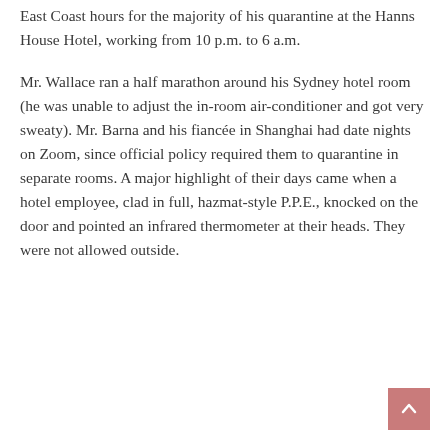East Coast hours for the majority of his quarantine at the Hanns House Hotel, working from 10 p.m. to 6 a.m.
Mr. Wallace ran a half marathon around his Sydney hotel room (he was unable to adjust the in-room air-conditioner and got very sweaty). Mr. Barna and his fiancée in Shanghai had date nights on Zoom, since official policy required them to quarantine in separate rooms. A major highlight of their days came when a hotel employee, clad in full, hazmat-style P.P.E., knocked on the door and pointed an infrared thermometer at their heads. They were not allowed outside.